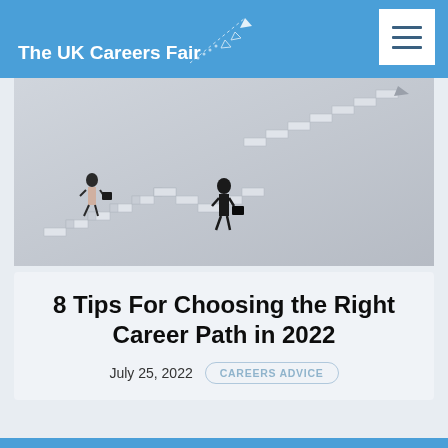The UK Careers Fair
[Figure (photo): Two business people climbing zigzag staircases on a concrete wall — a woman with a briefcase on the left staircase, a man with a briefcase on the right staircase. Black and white/grey tone photo symbolizing career progression.]
8 Tips For Choosing the Right Career Path in 2022
July 25, 2022
CAREERS ADVICE